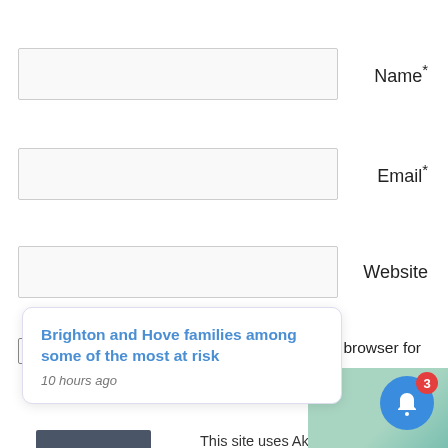Name *
Email *
Website
Save my name, email, and website in this browser for the next time I comment.
Post Comment
This site uses Akismet to reduce spam. Learn how your comment data is processed.
Brighton and Hove families among some of the most at risk
10 hours ago